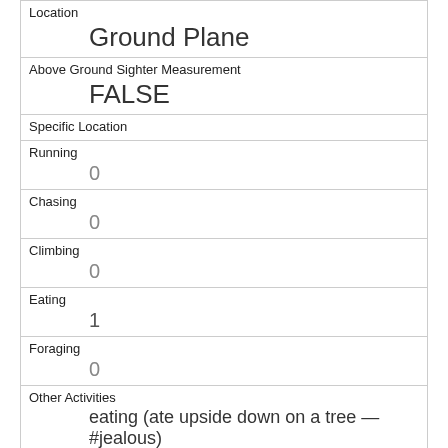| Location | Ground Plane |
| Above Ground Sighter Measurement | FALSE |
| Specific Location |  |
| Running | 0 |
| Chasing | 0 |
| Climbing | 0 |
| Eating | 1 |
| Foraging | 0 |
| Other Activities | eating (ate upside down on a tree — #jealous) |
| Kuks | 0 |